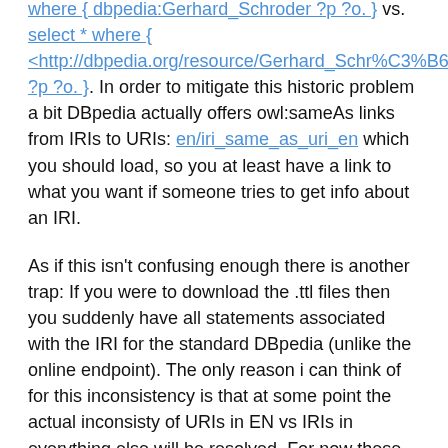where { dbpedia:Gerhard_Schroder ?p ?o. } vs. select * where { <http://dbpedia.org/resource/Gerhard_Schr%C3%B6der> ?p ?o. }. In order to mitigate this historic problem a bit DBpedia actually offers owl:sameAs links from IRIs to URIs: en/iri_same_as_uri_en which you should load, so you at least have a link to what you want if someone tries to get info about an IRI.
As if this isn't confusing enough there is another trap: If you were to download the .ttl files then you suddenly have all statements associated with the IRI for the standard DBpedia (unlike the online endpoint). The only reason i can think of for this inconsistency is that at some point the actual inconsisty of URIs in EN vs IRIs in everything else will be resolved. For now these files are most certainly not what you want! So use the .nt files!
As the standard DBpedia provides labels, abstracts and a couple other things in several languages, there are two types